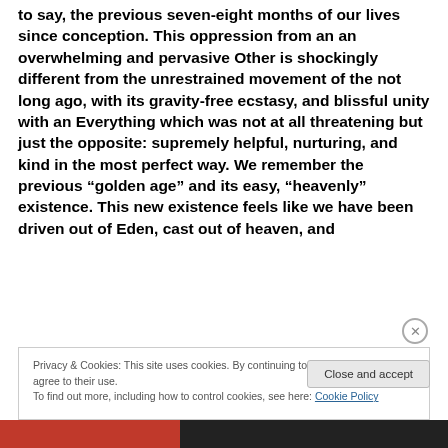to say, the previous seven-eight months of our lives since conception. This oppression from an an overwhelming and pervasive Other is shockingly different from the unrestrained movement of the not long ago, with its gravity-free ecstasy, and blissful unity with an Everything which was not at all threatening but just the opposite: supremely helpful, nurturing, and kind in the most perfect way. We remember the previous “golden age” and its easy, “heavenly” existence. This new existence feels like we have been driven out of Eden, cast out of heaven, and
Privacy & Cookies: This site uses cookies. By continuing to use this website, you agree to their use.
To find out more, including how to control cookies, see here: Cookie Policy